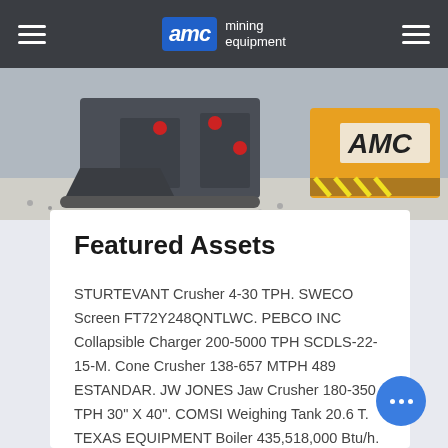AMC mining equipment
[Figure (photo): Close-up photo of mining equipment including grey metal crushers and machinery with AMC branding visible in the background.]
Featured Assets
STURTEVANT Crusher 4-30 TPH. SWECO Screen FT72Y248QNTLWC. PEBCO INC Collapsible Charger 200-5000 TPH SCDLS-22-15-M. Cone Crusher 138-657 MTPH 489 ESTANDAR. JW JONES Jaw Crusher 180-350 TPH 30" X 40". COMSI Weighing Tank 20.6 T. TEXAS EQUIPMENT Boiler 435,518,000 Btu/h.